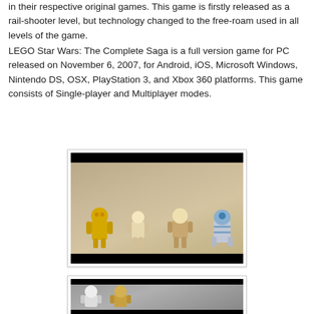in their respective original games. This game is firstly released as a rail-shooter level, but technology changed to the free-roam used in all levels of the game.
LEGO Star Wars: The Complete Saga is a full version game for PC released on November 6, 2007, for Android, iOS, Microsoft Windows, Nintendo DS, OSX, PlayStation 3, and Xbox 360 platforms. This game consists of Single-player and Multiplayer modes.
[Figure (screenshot): Screenshot from LEGO Star Wars: The Complete Saga showing LEGO versions of C-3PO, a human character, Obi-Wan Kenobi, and R2-D2 in an interior scene with cinematic black bars.]
[Figure (screenshot): Partial screenshot from LEGO Star Wars: The Complete Saga showing LEGO Stormtrooper and another character in a gray sci-fi interior setting.]